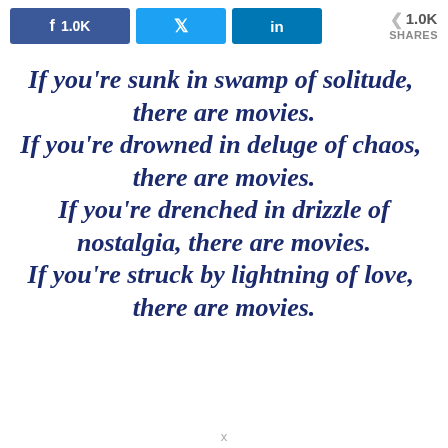[Figure (screenshot): Social media share bar with Facebook (1.0K), Twitter, LinkedIn buttons and 1.0K SHARES count]
If you're sunk in swamp of solitude, there are movies.
If you're drowned in deluge of chaos, there are movies.
If you're drenched in drizzle of nostalgia, there are movies.
If you're struck by lightning of love, there are movies.
x